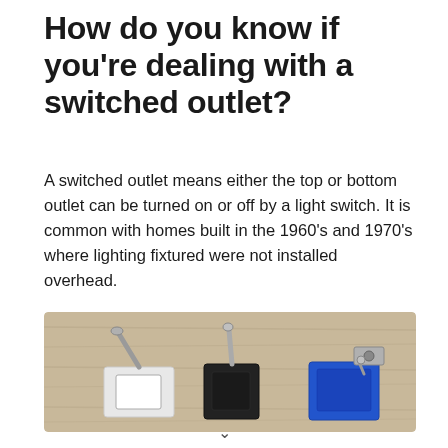How do you know if you're dealing with a switched outlet?
A switched outlet means either the top or bottom outlet can be turned on or off by a light switch. It is common with homes built in the 1960's and 1970's where lighting fixtured were not installed overhead.
[Figure (photo): Three electrical outlets or switches photographed from above on a wooden surface. Left shows a white outlet with a metal toggle, center shows a dark/black outlet with a silver toggle, and right shows a blue outlet/switch with mounting hardware.]